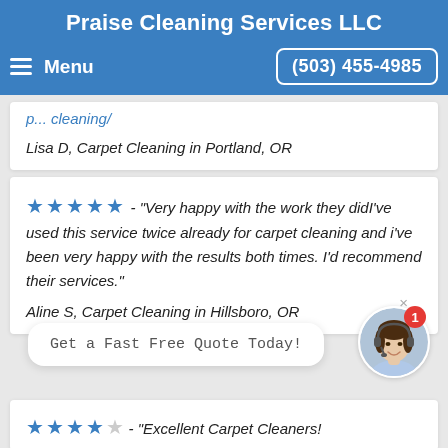Praise Cleaning Services LLC
Menu   (503) 455-4985
Lisa D, Carpet Cleaning in Portland, OR
★★★★★ - "Very happy with the work they didI've used this service twice already for carpet cleaning and i've been very happy with the results both times. I'd recommend their services."
Aline S, Carpet Cleaning in Hillsboro, OR
Get a Fast Free Quote Today!
★★★★★ - "Excellent Carpet Cleaners!